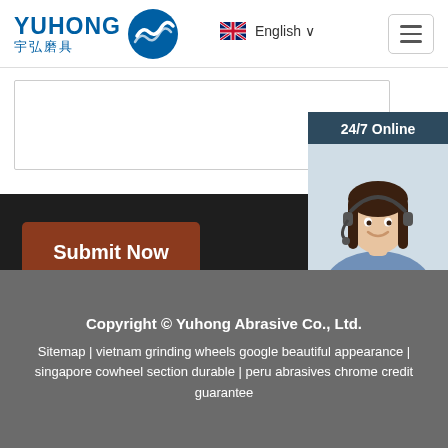[Figure (logo): Yuhong Abrasive company logo with Chinese text 宇弘磨具 and blue wave icon]
English ∨
[Figure (screenshot): White form/input box area]
[Figure (photo): Customer service representative wearing headset with 24/7 Online label]
Submit Now
Click here for free chat！
QUOTATION
Copyright © Yuhong Abrasive Co., Ltd.
Sitemap | vietnam grinding wheels google beautiful appearance | singapore cowheel section durable | peru abrasives chrome credit guarantee